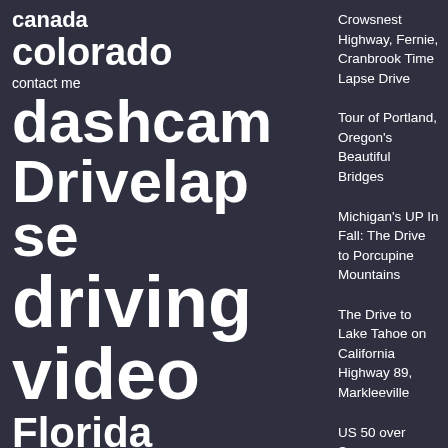canada
colorado
contact me
dashcam
Drivelapse
se
driving
video
Florida
georgia
highway
how to drivelapse
idaho
IFTTT
maine
maryland
Crowsnest Highway, Fernie, Cranbrook Time Lapse Drive
Tour of Portland, Oregon's Beautiful Bridges
Michigan's UP In Fall: The Drive to Porcupine Mountains
The Drive to Lake Tahoe on California Highway 89, Markleeville
US 50 over Spooner Summit, to Lake Tahoe, back to Carson